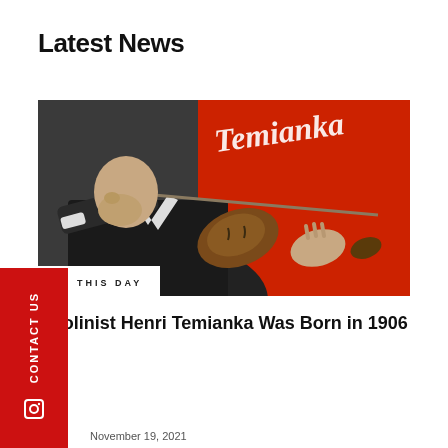Latest News
[Figure (photo): Black and white photograph of violinist Henri Temianka playing violin, with a red background showing partial text 'Temianka'. An 'ON THIS DAY' badge overlays the lower left of the image.]
Violinist Henri Temianka Was Born in 1906
November 19, 2021